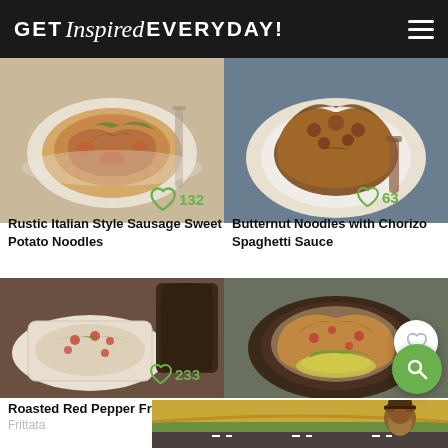GET Inspired EVERYDAY!
[Figure (photo): Bowl of pasta with sausage and sweet potato noodles, topped with greens, on a white plate]
Rustic Italian Style Sausage Sweet Potato Noodles
[Figure (photo): White bowl of butternut noodles with chorizo spaghetti sauce, brown spoon nearby]
Butternut Noodles with Chorizo Spaghetti Sauce
[Figure (photo): Roasted red pepper frittata on a white plate with tomatoes and greens in a cast iron pan behind]
Roasted Red Pepper Frittata
[Figure (photo): Taco sweet potato noodles in a black skillet with avocado slices, tomatoes and herbs]
Taco Sweet Potato
[Figure (photo): Advertisement banner at the bottom showing a road scene with Smokey Bear character]